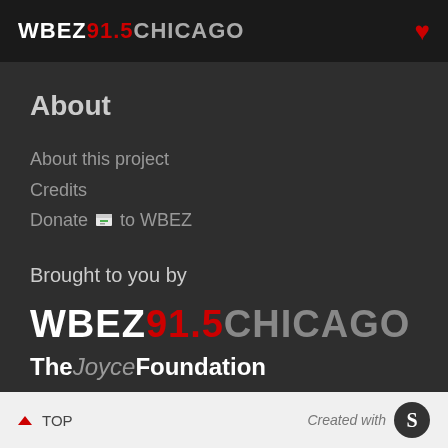WBEZ 91.5 CHICAGO
About
About this project
Credits
Donate to WBEZ
Brought to you by
[Figure (logo): WBEZ 91.5 CHICAGO logo in large bold text]
[Figure (logo): The Joyce Foundation logo]
TOP | Created with S